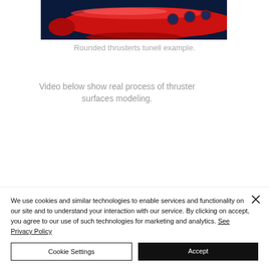[Figure (photo): A red submarine or underwater vehicle with circular portholes/windows, shown against a dark blue background. The vehicle appears elongated with a smooth, rounded hull.]
Rounded thrusterts tunell example.
Video below show real process of thruster surfaces modeling.
We use cookies and similar technologies to enable services and functionality on our site and to understand your interaction with our service. By clicking on accept, you agree to our use of such technologies for marketing and analytics. See Privacy Policy